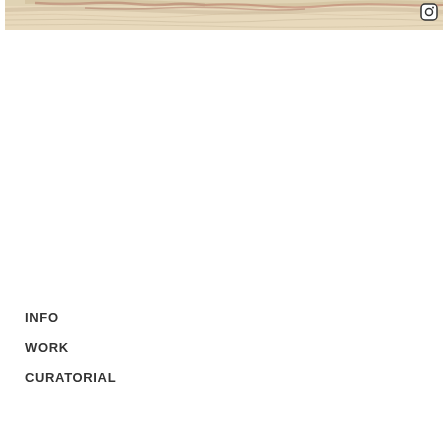[Figure (photo): A horizontal strip showing a close-up of a light-colored wood grain surface with natural markings and reddish-brown streaks across the top of the page. An Instagram icon appears in the top-right corner.]
INFO
WORK
CURATORIAL